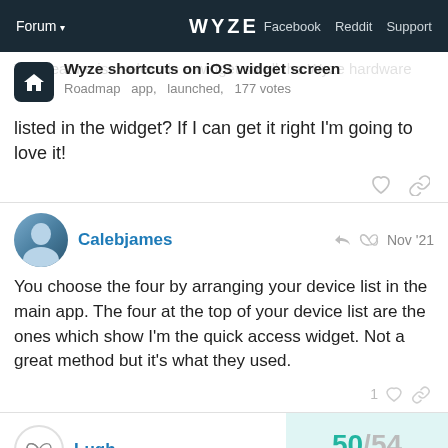Forum ▾   WYZE   Facebook  Reddit  Support
Wyze shortcuts on iOS widget screen
Roadmap  app,  launched,  177 votes
listed in the widget? If I can get it right I'm going to love it!
Calebjames  Nov '21
You choose the four by arranging your device list in the main app. The four at the top of your device list are the ones which show I'm the quick access widget. Not a great method but it's what they used.
Lugh
50/54